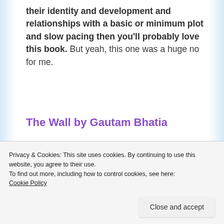their identity and development and relationships with a basic or minimum plot and slow pacing then you'll probably love this book. But yeah, this one was a huge no for me.
The Wall by Gautam Bhatia
[Figure (photo): Book cover image showing 'GAUTAM BHATIA' text on a purple/lavender background]
Privacy & Cookies: This site uses cookies. By continuing to use this website, you agree to their use.
To find out more, including how to control cookies, see here: Cookie Policy